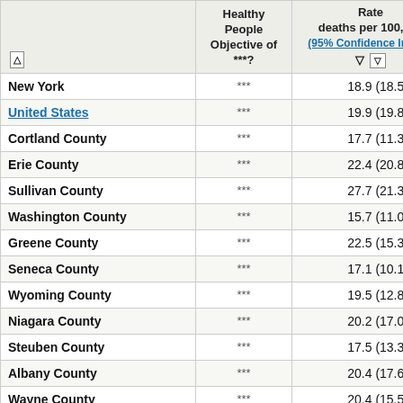|  | Healthy People Objective of ***? | Rate deaths per 100,000 (95% Confidence Interval) |
| --- | --- | --- |
| New York | *** | 18.9 (18.5, 19.2) |
| United States | *** | 19.9 (19.8, 20.0) |
| Cortland County | *** | 17.7 (11.3, 26.5) |
| Erie County | *** | 22.4 (20.8, 24.2) |
| Sullivan County | *** | 27.7 (21.3, 35.5) |
| Washington County | *** | 15.7 (11.0, 22.1) |
| Greene County | *** | 22.5 (15.3, 32.4) |
| Seneca County | *** | 17.1 (10.1, 27.7) |
| Wyoming County | *** | 19.5 (12.8, 29.1) |
| Niagara County | *** | 20.2 (17.0, 23.9) |
| Steuben County | *** | 17.5 (13.3, 22.9) |
| Albany County | *** | 20.4 (17.6, 23.5) |
| Wayne County | *** | 20.4 (15.5, 26.5) |
| Cayuga County | *** | 18.5 (13.7, 24.7) |